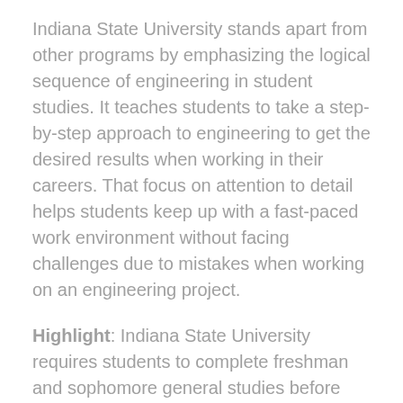Indiana State University stands apart from other programs by emphasizing the logical sequence of engineering in student studies. It teaches students to take a step-by-step approach to engineering to get the desired results when working in their careers. That focus on attention to detail helps students keep up with a fast-paced work environment without facing challenges due to mistakes when working on an engineering project.
Highlight: Indiana State University requires students to complete freshman and sophomore general studies before moving into the online program.
Program Through the Freshman Technical...